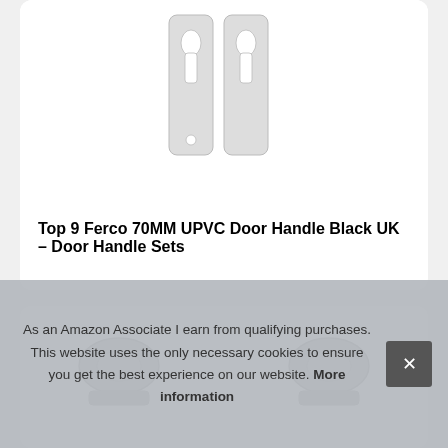[Figure (photo): Two white UPVC door handle backplates with euro cylinder keyhole cutouts, shown side by side on a white background]
Top 9 Ferco 70MM UPVC Door Handle Black UK – Door Handle Sets
[Figure (photo): Partial view of door handle hardware, cut off by cookie banner]
As an Amazon Associate I earn from qualifying purchases. This website uses the only necessary cookies to ensure you get the best experience on our website. More information